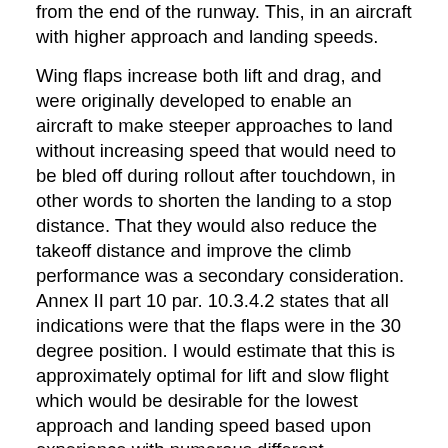from the end of the runway. This, in an aircraft with higher approach and landing speeds.
Wing flaps increase both lift and drag, and were originally developed to enable an aircraft to make steeper approaches to land without increasing speed that would need to be bled off during rollout after touchdown, in other words to shorten the landing to a stop distance. That they would also reduce the takeoff distance and improve the climb performance was a secondary consideration. Annex II part 10 par. 10.3.4.2 states that all indications were that the flaps were in the 30 degree position. I would estimate that this is approximately optimal for lift and slow flight which would be desirable for the lowest approach and landing speed based upon experience with numerous different